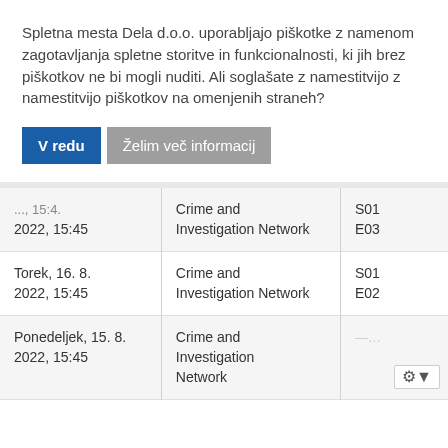Spletna mesta Dela d.o.o. uporabljajo piškotke z namenom zagotavljanja spletne storitve in funkcionalnosti, ki jih brez piškotkov ne bi mogli nuditi. Ali soglašate z namestitvijo z namestitvijo piškotkov na omenjenih straneh?
V redu | Želim več informacij
| Date | Channel | Episode |
| --- | --- | --- |
| ..., 15:45 / 2022, 15:45 | Crime and Investigation Network | S01 E03 |
| Torek, 16. 8. 2022, 15:45 | Crime and Investigation Network | S01 E02 |
| Ponedeljek, 15. 8. 2022, 15:45 | Crime and Investigation Network | ... |